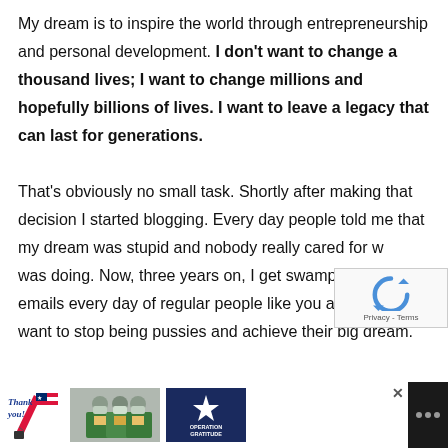My dream is to inspire the world through entrepreneurship and personal development. I don't want to change a thousand lives; I want to change millions and hopefully billions of lives. I want to leave a legacy that can last for generations.

That's obviously no small task. Shortly after making that decision I started blogging. Every day people told me that my dream was stupid and nobody really cared for what I was doing. Now, three years on, I get swamped with emails every day of regular people like you and me that want to stop being pussies and achieve their big dream.
[Figure (other): reCAPTCHA badge with circular arrow logo and Privacy - Terms text]
[Figure (photo): Advertisement banner at the bottom: Thank you! text with American flag pencil illustration, photo of masked healthcare workers holding packages, Operation Gratitude logo on dark blue background with star]